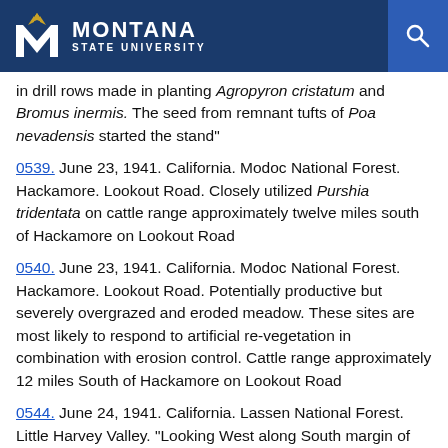Montana State University
in drill rows made in planting Agropyron cristatum and Bromus inermis. The seed from remnant tufts of Poa nevadensis started the stand"
0539. June 23, 1941. California. Modoc National Forest. Hackamore. Lookout Road. Closely utilized Purshia tridentata on cattle range approximately twelve miles south of Hackamore on Lookout Road
0540. June 23, 1941. California. Modoc National Forest. Hackamore. Lookout Road. Potentially productive but severely overgrazed and eroded meadow. These sites are most likely to respond to artificial re-vegetation in combination with erosion control. Cattle range approximately 12 miles South of Hackamore on Lookout Road
0544. June 24, 1941. California. Lassen National Forest. Little Harvey Valley. "Looking West along South margin of meadow from top of wall of excavated dirt water tank. Open water is drainage channel approx. 30 inches deep. Forage: grasses and rushes on bordering drained slopes and in shallow water. Carex livida [probably]